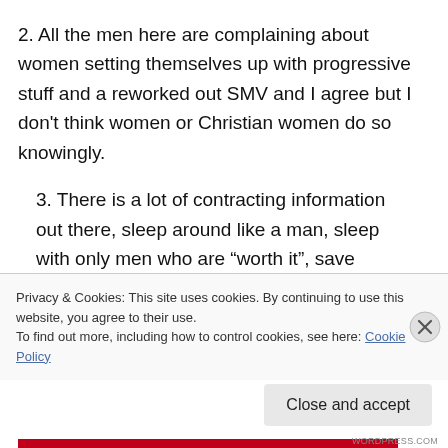2. All the men here are complaining about women setting themselves up with progressive stuff and a reworked out SMV and I agree but I don't think women or Christian women do so knowingly.
3. There is a lot of contracting information out there, sleep around like a man, sleep with only men who are “worth it”, save yourself for marriage, men don’t like women who put out too easily, he'll probably not date you unless you
Privacy & Cookies: This site uses cookies. By continuing to use this website, you agree to their use.
To find out more, including how to control cookies, see here: Cookie Policy
WORDPRESS.COM